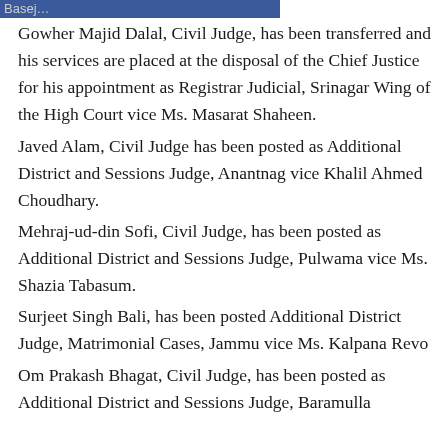Basej…
Gowher Majid Dalal, Civil Judge, has been transferred and his services are placed at the disposal of the Chief Justice for his appointment as Registrar Judicial, Srinagar Wing of the High Court vice Ms. Masarat Shaheen.
Javed Alam, Civil Judge has been posted as Additional District and Sessions Judge, Anantnag vice Khalil Ahmed Choudhary.
Mehraj-ud-din Sofi, Civil Judge, has been posted as Additional District and Sessions Judge, Pulwama vice Ms. Shazia Tabasum.
Surjeet Singh Bali, has been posted Additional District Judge, Matrimonial Cases, Jammu vice Ms. Kalpana Revo
Om Prakash Bhagat, Civil Judge, has been posted as Additional District and Sessions Judge, Baramulla